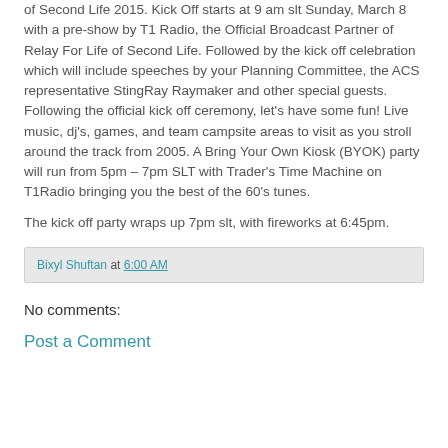of Second Life 2015. Kick Off starts at 9 am slt Sunday, March 8 with a pre-show by T1 Radio, the Official Broadcast Partner of Relay For Life of Second Life. Followed by the kick off celebration which will include speeches by your Planning Committee, the ACS representative StingRay Raymaker and other special guests. Following the official kick off ceremony, let's have some fun! Live music, dj's, games, and team campsite areas to visit as you stroll around the track from 2005. A Bring Your Own Kiosk (BYOK) party will run from 5pm – 7pm SLT with Trader's Time Machine on T1Radio bringing you the best of the 60's tunes.
The kick off party wraps up 7pm slt, with fireworks at 6:45pm.
Bixyl Shuftan at 6:00 AM
No comments:
Post a Comment